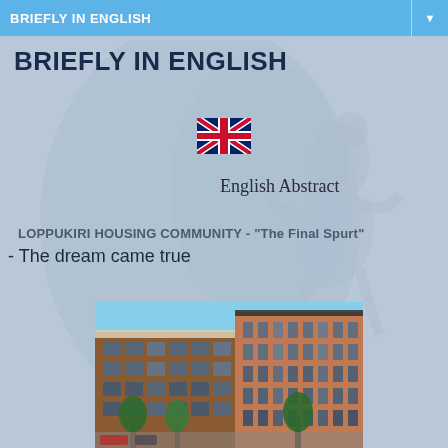BRIEFLY IN ENGLISH
BRIEFLY IN ENGLISH
[Figure (illustration): UK flag (Union Jack) emoji/icon]
English Abstract
LOPPUKIRI HOUSING COMMUNITY - "The Final Spurt"
- The dream came true
[Figure (photo): Exterior photo of a modern multi-storey residential building with red/brown brick facade, large windows, and trees in front, under blue sky]